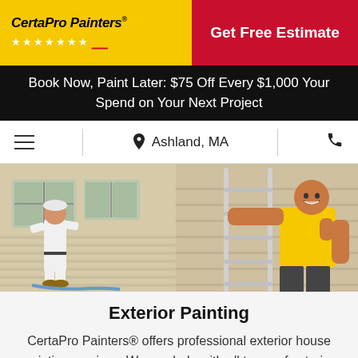[Figure (logo): CertaPro Painters logo on yellow background with stars]
Get Free Estimate
Book Now, Paint Later: $75 Off Every $1,000 Your Spend on Your Next Project
Ashland, MA
[Figure (photo): Two painters outside a house, one in white uniform facing window, one in yellow shirt giving thumbs up next to a ladder]
Exterior Painting
CertaPro Painters® offers professional exterior house painting services. We can help with all types of exterior home surfaces including wood, siding, stucco